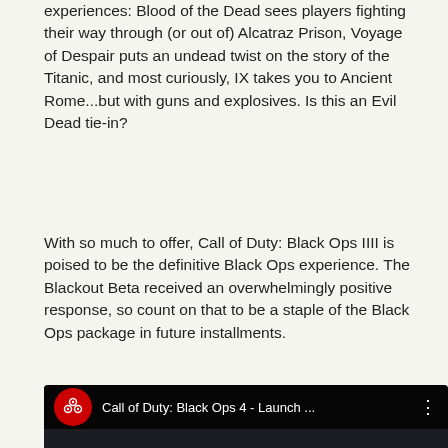experiences: Blood of the Dead sees players fighting their way through (or out of) Alcatraz Prison, Voyage of Despair puts an undead twist on the story of the Titanic, and most curiously, IX takes you to Ancient Rome...but with guns and explosives. Is this an Evil Dead tie-in?
With so much to offer, Call of Duty: Black Ops IIII is poised to be the definitive Black Ops experience. The Blackout Beta received an overwhelmingly positive response, so count on that to be a staple of the Black Ops package in future installments.
[Figure (screenshot): Embedded YouTube video player showing 'Call of Duty: Black Ops 4 - Launch ...' with a dark scene of a soldier character with a mask and weapon, YouTube play button overlay visible.]